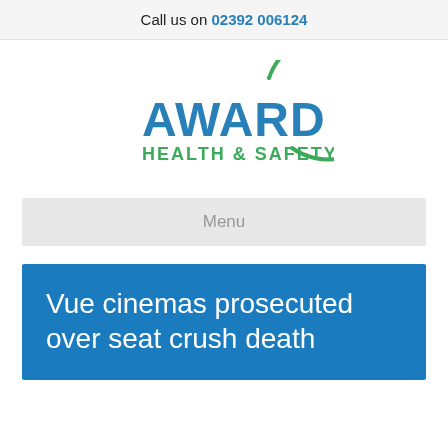Call us on 02392 006124
[Figure (logo): Award Health & Safety logo with green circle arc and blue/green text]
Menu
Vue cinemas prosecuted over seat crush death